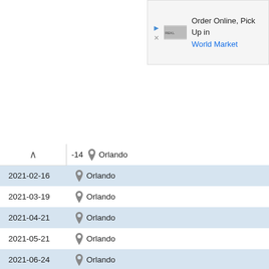[Figure (screenshot): Advertisement banner: Order Online, Pick Up in World Market]
-14  Orlando
2021-02-16  Orlando
2021-03-19  Orlando
2021-04-21  Orlando
2021-05-21  Orlando
2021-06-24  Orlando
2021-07-29  Orlando
2021-08-31  Orlando
Destin
2021-09-03  Orlando
2021-10-05  Orlando
2021-11-04  Orlando
2021-12-06  Orlando
2022-01-06  Orlando